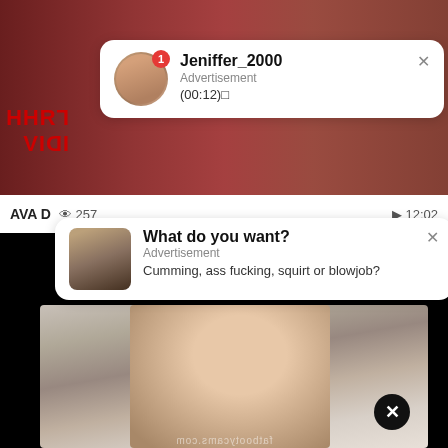[Figure (screenshot): Adult website screenshot with overlay notification popups. Top section shows a background content area with mirrored Cyrillic text 'ГЯНН ИДIV'. Two white notification cards appear: first card shows 'Jeniffer_2000 / Advertisement / (00:12)' with a badge showing 1. Second card shows 'What do you want? / Advertisement / Cumming, ass fucking, squirt or blowjob?' Below is a video player area with a woman's face visible, and a close button. At the bottom: 'fatbootycams.com' watermark mirrored.]